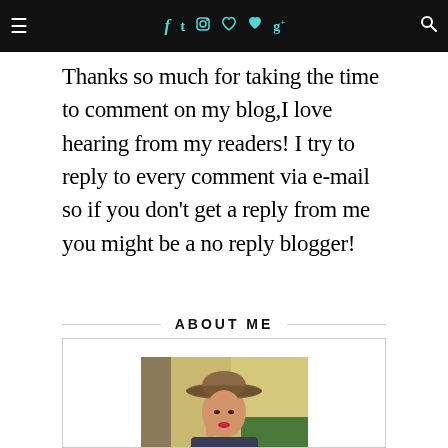≡  f  t  [instagram]  [pinterest]  [heart]  g+  [search]
Thanks so much for taking the time to comment on my blog,I love hearing from my readers! I try to reply to every comment via e-mail so if you don't get a reply from me you might be a no reply blogger!
ABOUT ME
[Figure (photo): Portrait photo of a woman wearing a brown wide-brim hat, smiling, touching her hair, outdoors with a blurred building background]